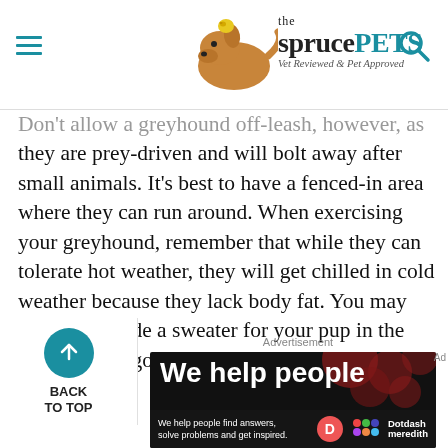the sprucePETS — Vet Reviewed & Pet Approved
Don't allow a greyhound off-leash, however, as they are prey-driven and will bolt away after small animals. It's best to have a fenced-in area where they can run around. When exercising your greyhound, remember that while they can tolerate hot weather, they will get chilled in cold weather because they lack body fat. You may need to provide a sweater for your pup in the winter while going on a walk.
[Figure (screenshot): Back to Top button with teal circle and upward arrow]
Advertisement
[Figure (screenshot): Dotdash Meredith advertisement: We help people — We help people find answers, solve problems and get inspired.]